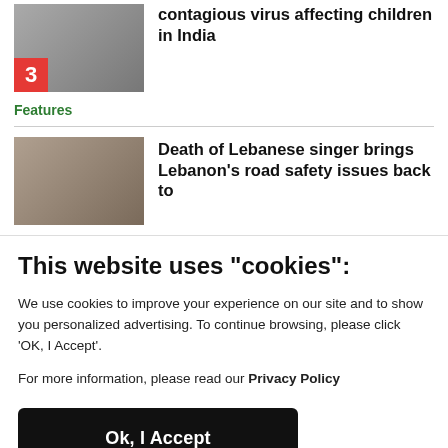[Figure (photo): Thumbnail photo of children (students) at a table outdoors, with number badge '3' in bottom-left corner]
contagious virus affecting children in India
Features
[Figure (photo): Thumbnail photo of a car accident or road scene in Lebanon]
Death of Lebanese singer brings Lebanon's road safety issues back to
This website uses "cookies":
We use cookies to improve your experience on our site and to show you personalized advertising. To continue browsing, please click 'OK, I Accept'.
For more information, please read our Privacy Policy
Ok, I Accept